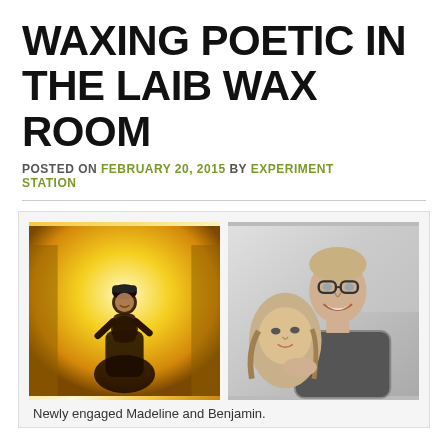WAXING POETIC IN THE LAIB WAX ROOM
POSTED ON FEBRUARY 20, 2015 BY EXPERIMENT STATION
[Figure (photo): Two photos side by side in a light gray bordered container. Left: a couple outdoors bathed in warm golden yellow light, woman sitting on man's shoulders wearing a beanie hat, autumn/golden glow background. Right: a black and white portrait photo of a smiling young man with glasses and a young woman leaning against him.]
Newly engaged Madeline and Benjamin.